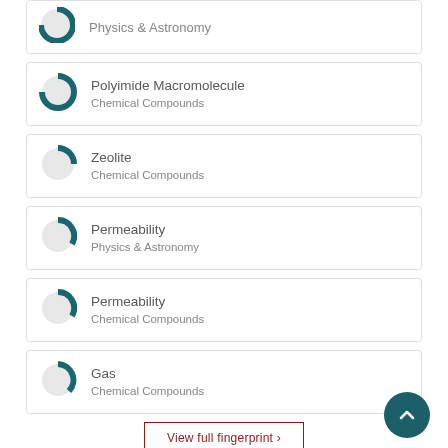Physics & Astronomy
Polyimide Macromolecule
Chemical Compounds
Zeolite
Chemical Compounds
Permeability
Physics & Astronomy
Permeability
Chemical Compounds
Gas
Chemical Compounds
View full fingerprint >